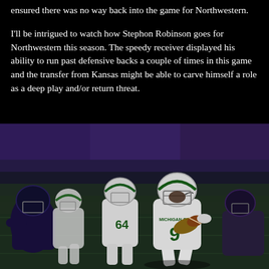ensured there was no way back into the game for Northwestern.
I'll be intrigued to watch how Stephon Robinson goes for Northwestern this season. The speedy receiver displayed his ability to run past defensive backs a couple of times in this game and the transfer from Kansas might be able to carve himself a role as a deep play and/or return threat.
[Figure (photo): Football action photo showing Michigan State player number 9 in white uniform carrying the ball, with player number 64 also in white visible behind, running against Northwestern defenders in dark uniforms, stadium crowd in background with purple and gold colors.]